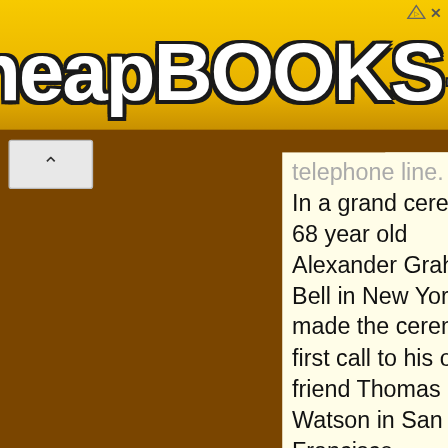[Figure (screenshot): CheapBOOKS.com banner advertisement with yellow gradient background and bold white text with dark outline]
telephone line. In a grand ceremony, 68 year old Alexander Graham Bell in New York City made the ceremonial first call to his old friend Thomas Watson in San Francisco.
Soda fountain
[Figure (illustration): Small illustration of a violin or string instrument, brown colored, with a calendar/grid icon overlay]
In 1870, Gustavus Dows of Lowell, Mass. received his first patent (No. 99,170) for
This website uses cookies to deliver its content, to show relevant ads and to analyze its traffic. Learn More
[Figure (other): Orange rounded rectangle Got it button]